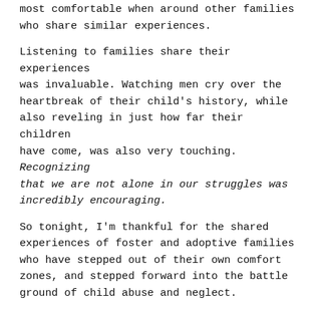most comfortable when around other families who share similar experiences.
Listening to families share their experiences was invaluable. Watching men cry over the heartbreak of their child's history, while also reveling in just how far their children have come, was also very touching. Recognizing that we are not alone in our struggles was incredibly encouraging.
So tonight, I'm thankful for the shared experiences of foster and adoptive families who have stepped out of their own comfort zones, and stepped forward into the battle ground of child abuse and neglect.
I'm thankful for families who keep pushing ahead, despite the wounded pasts of their